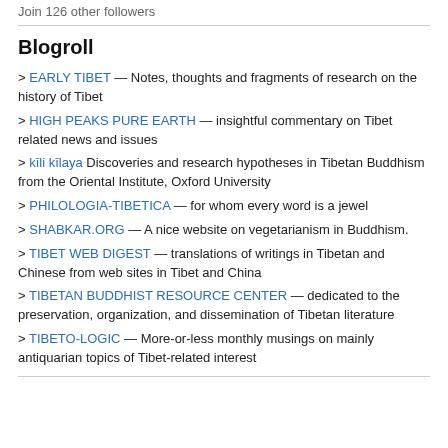Join 126 other followers
Blogroll
> EARLY TIBET — Notes, thoughts and fragments of research on the history of Tibet
> HIGH PEAKS PURE EARTH — insightful commentary on Tibet related news and issues
> kīli kīlaya Discoveries and research hypotheses in Tibetan Buddhism from the Oriental Institute, Oxford University
> PHILOLOGIA-TIBETICA — for whom every word is a jewel
> SHABKAR.ORG — A nice website on vegetarianism in Buddhism.
> TIBET WEB DIGEST — translations of writings in Tibetan and Chinese from web sites in Tibet and China
> TIBETAN BUDDHIST RESOURCE CENTER — dedicated to the preservation, organization, and dissemination of Tibetan literature
> TIBETO-LOGIC — More-or-less monthly musings on mainly antiquarian topics of Tibet-related interest